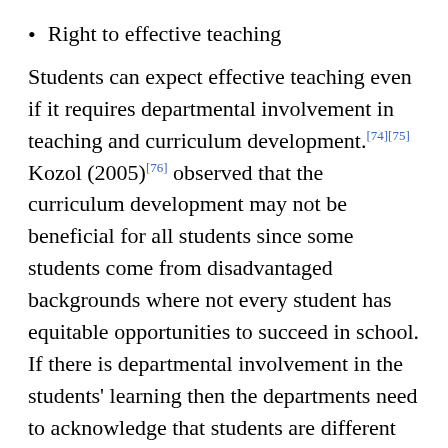Right to effective teaching
Students can expect effective teaching even if it requires departmental involvement in teaching and curriculum development.[74][75] Kozol (2005)[76] observed that the curriculum development may not be beneficial for all students since some students come from disadvantaged backgrounds where not every student has equitable opportunities to succeed in school. If there is departmental involvement in the students' learning then the departments need to acknowledge that students are different when they belong to a minority group. Ogbu (2004)[77] argued that for an effective teaching to take place, departments need to understand students at